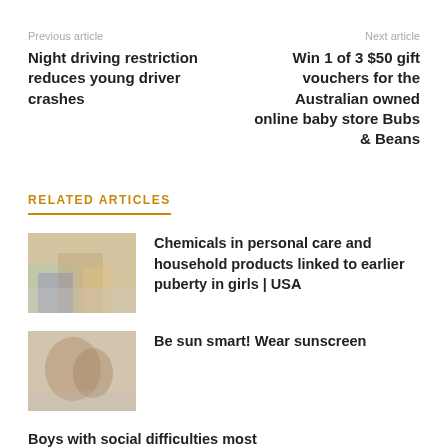Previous article | Next article
Night driving restriction reduces young driver crashes
Win 1 of 3 $50 gift vouchers for the Australian owned online baby store Bubs & Beans
RELATED ARTICLES
[Figure (photo): Thumbnail image for article about chemicals in personal care products]
Chemicals in personal care and household products linked to earlier puberty in girls | USA
[Figure (photo): Thumbnail image for article about sun safety and sunscreen]
Be sun smart! Wear sunscreen
Boys with social difficulties most